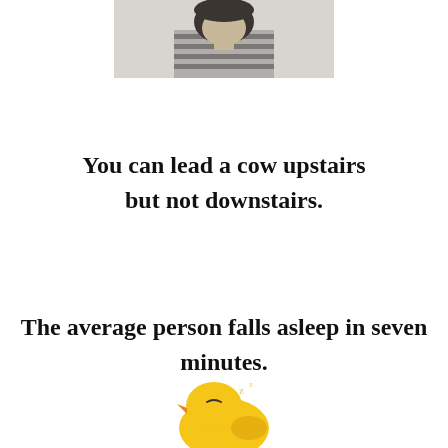[Figure (photo): Black and white photo of a young child in a striped shirt, cropped to show upper body, partially visible at top of page]
You can lead a cow upstairs but not downstairs.
The average person falls asleep in seven minutes.
[Figure (illustration): Cartoon illustration of a yellow sleeping chick or bird, partially visible at the bottom of the page]